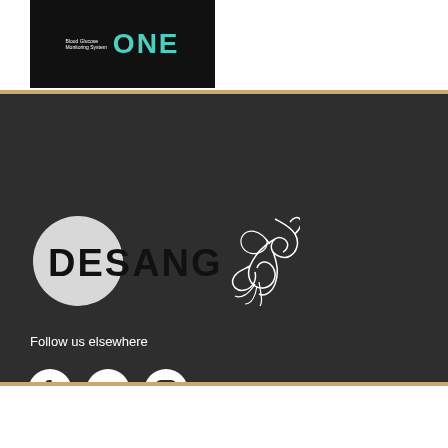[Figure (logo): Product image with dark background showing small text and teal 'ONE' text]
[Figure (logo): DESANG logo with hummingbird illustration on dark background]
Follow us elsewhere
[Figure (infographic): Social media icons: Facebook, Twitter, Instagram]
LATEST TWEETS
Twitter: desangsue